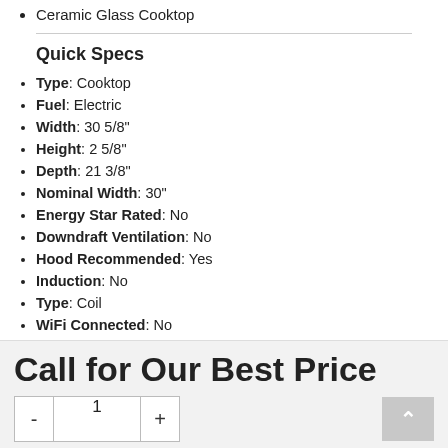Ceramic Glass Cooktop
Quick Specs
Type: Cooktop
Fuel: Electric
Width: 30 5/8"
Height: 2 5/8"
Depth: 21 3/8"
Nominal Width: 30"
Energy Star Rated: No
Downdraft Ventilation: No
Hood Recommended: Yes
Induction: No
Type: Coil
WiFi Connected: No
See More
Call for Our Best Price